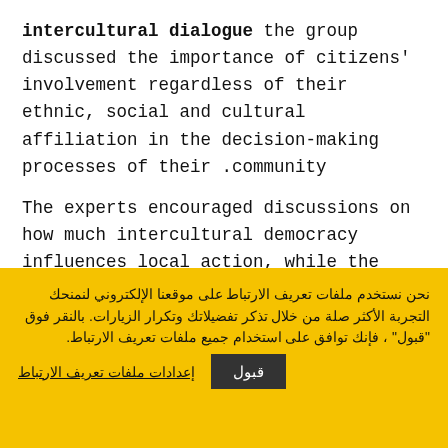intercultural dialogue the group discussed the importance of citizens' involvement regardless of their ethnic, social and cultural affiliation in the decision-making processes of their community.
The experts encouraged discussions on how much intercultural democracy influences local action, while the project
نحن نستخدم ملفات تعريف الارتباط على موقعنا الإلكتروني لنمنحك التجربة الأكثر صلة من خلال تذكر تفضيلاتك وتكرار الزيارات. بالنقر فوق "قبول" ، فإنك توافق على استخدام جميع ملفات تعريف الارتباط.
قبول
إعدادات ملفات تعريف الارتباط